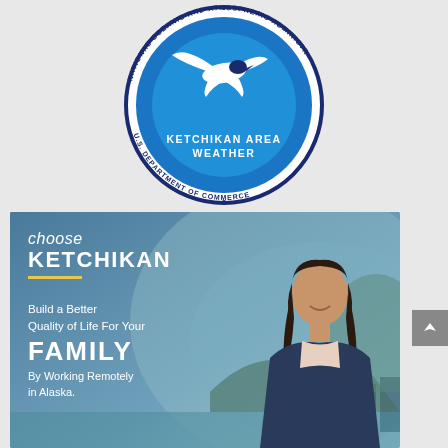[Figure (logo): NOAA circular seal/logo for Ketchikan Area Weather, National Oceanic and Atmospheric Administration, U.S. Department of Commerce. Blue circle with white bird/tern, text around border.]
[Figure (infographic): Choose Ketchikan promotional banner with teal/blue gradient background, mountain and cityscape silhouette, woman smiling. Text: 'choose KETCHIKAN', 'Build a Better Quality of Life For Your FAMILY By Working Remotely in Alaska.']